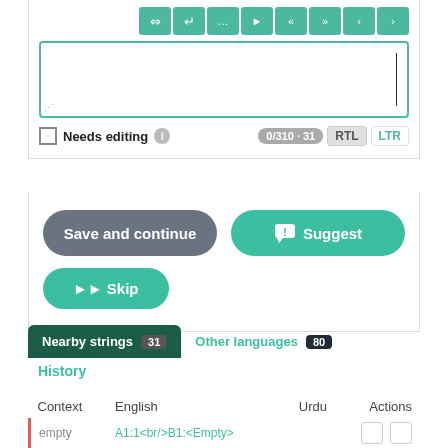[Figure (screenshot): Text input area with symbol toolbar and blue-green border, showing an empty text box with cursor]
Needs editing  ℹ   0/310 · 31  RTL  LTR
[Figure (screenshot): Action buttons: Save and continue (gray), Suggest (teal), Skip (teal)]
Nearby strings 31   Other languages 80
History
| Context | English | Urdu | Actions |
| --- | --- | --- | --- |
| empty | A1:1<br/>B1:<Empty> |  |  |